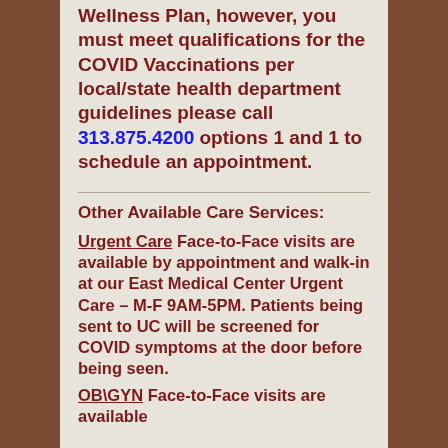Wellness Plan, however, you must meet qualifications for the COVID Vaccinations per local/state health department guidelines please call 313.875.4200 options 1 and 1 to schedule an appointment.
Other Available Care Services:
Urgent Care Face-to-Face visits are available by appointment and walk-in at our East Medical Center Urgent Care – M-F 9AM-5PM. Patients being sent to UC will be screened for COVID symptoms at the door before being seen.
OB\GYN Face-to-Face visits are available